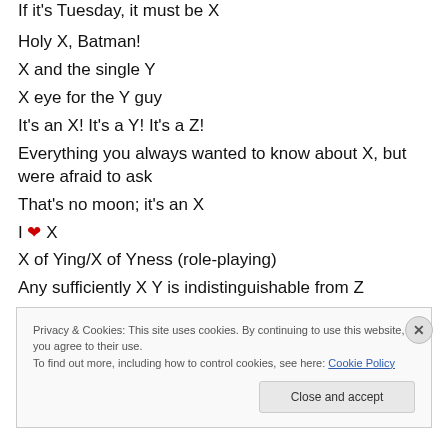If it's Tuesday, it must be X
Holy X, Batman!
X and the single Y
X eye for the Y guy
It's an X! It's a Y! It's a Z!
Everything you always wanted to know about X, but were afraid to ask
That's no moon; it's an X
I ❤ X
X of Ying/X of Yness (role-playing)
Any sufficiently X Y is indistinguishable from Z
Privacy & Cookies: This site uses cookies. By continuing to use this website, you agree to their use. To find out more, including how to control cookies, see here: Cookie Policy